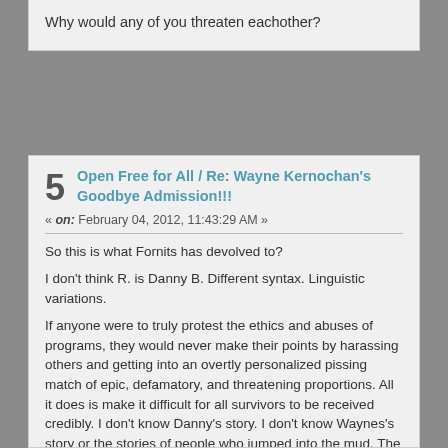Why would any of you threaten eachother?
5  Open Free for All / Re: Wayne Kernochan's Goodbye Admission!!!
« on: February 04, 2012, 11:43:29 AM »
So this is what Fornits has devolved to?
I don't think R. is Danny B. Different syntax. Linguistic variations.
If anyone were to truly protest the ethics and abuses of programs, they would never make their points by harassing others and getting into an overtly personalized pissing match of epic, defamatory, and threatening proportions. All it does is make it difficult for all survivors to be received credibly. I don't know Danny's story. I don't know Waynes's story or the stories of people who jumped into the mud.  The value of anything worthwhile to be learned has been lost in a grotesque sludge of sockpuppets, slander, egoism, threats, and ugly porn.  I'd never ever ever thought I'd say this, but this whole debacle makes me